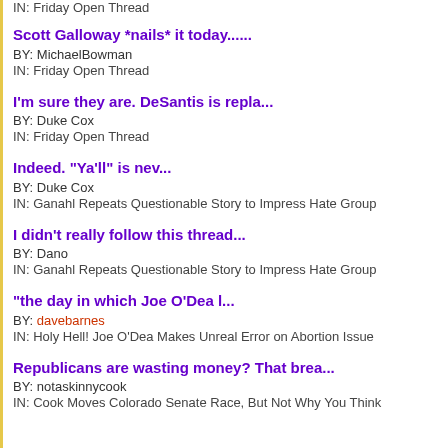IN: Friday Open Thread
Scott Galloway *nails* it today......
BY: MichaelBowman
IN: Friday Open Thread
I'm sure they are. DeSantis is repla...
BY: Duke Cox
IN: Friday Open Thread
Indeed. "Ya'll" is nev...
BY: Duke Cox
IN: Ganahl Repeats Questionable Story to Impress Hate Group
I didn't really follow this thread...
BY: Dano
IN: Ganahl Repeats Questionable Story to Impress Hate Group
"the day in which Joe O'Dea l...
BY: davebarnes
IN: Holy Hell! Joe O'Dea Makes Unreal Error on Abortion Issue
Republicans are wasting money? That brea...
BY: notaskinnycook
IN: Cook Moves Colorado Senate Race, But Not Why You Think